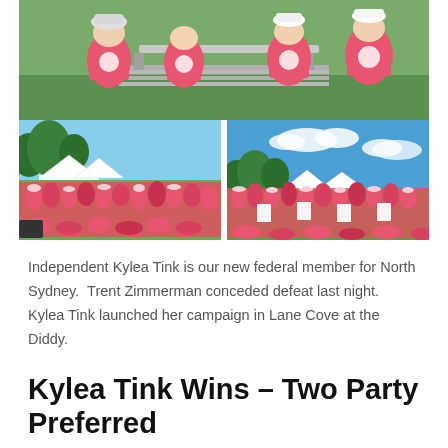[Figure (photo): Collage of three photos showing people in pink/red campaign t-shirts with a circular logo. Top photo: people seated at a picnic table from behind showing shirt logos. Bottom-left: large crowd of campaign volunteers in pink shirts on a grassy area with white tents. Bottom-right: another large crowd of pink-shirted supporters on a grassy field under blue sky.]
Independent Kylea Tink is our new federal member for North Sydney.  Trent Zimmerman conceded defeat last night.  Kylea Tink launched her campaign in Lane Cove at the Diddy.
Kylea Tink Wins – Two Party Preferred